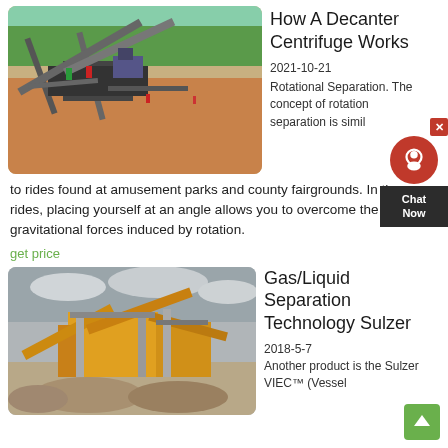[Figure (photo): Aerial view of a mining/quarry site with industrial equipment, conveyor belts, workers visible, red-orange soil ground, green trees in background]
How A Decanter Centrifuge Works
2021-10-21   Rotational Separation. The concept of rotational separation is similar to rides found at amusement parks and county fairgrounds. In these rides, placing yourself at an angle allows you to overcome the gravitational forces induced by rotation.
get price
[Figure (photo): Yellow and grey industrial crushing/screening plant with conveyor belts and large machinery at a quarry or mining site, overcast sky]
Gas/Liquid Separation Technology Sulzer
2018-5-7   Another product is the Sulzer VIEC™ (Vessel